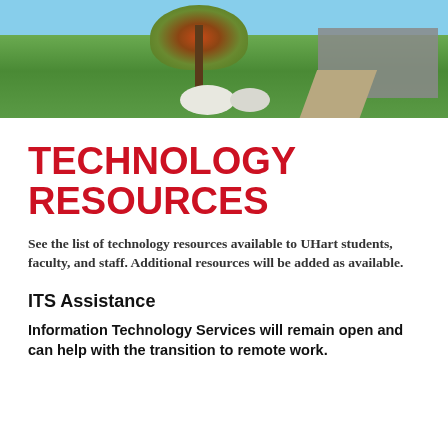[Figure (photo): University campus photo showing a tree with autumn foliage, a building in the background, white flowering bushes, a walking path, and a green lawn under a blue sky.]
TECHNOLOGY RESOURCES
See the list of technology resources available to UHart students, faculty, and staff. Additional resources will be added as available.
ITS Assistance
Information Technology Services will remain open and can help with the transition to remote work.